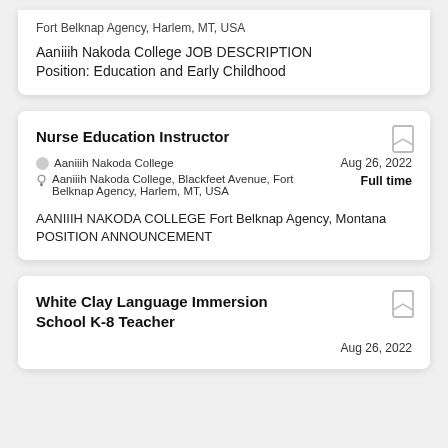Fort Belknap Agency, Harlem, MT, USA
Aaniiih Nakoda College JOB DESCRIPTION Position: Education and Early Childhood
Nurse Education Instructor
Aaniiih Nakoda College
Aaniiih Nakoda College, Blackfeet Avenue, Fort Belknap Agency, Harlem, MT, USA
Aug 26, 2022
Full time
AANIIIH NAKODA COLLEGE Fort Belknap Agency, Montana POSITION ANNOUNCEMENT
White Clay Language Immersion School K-8 Teacher
Aug 26, 2022